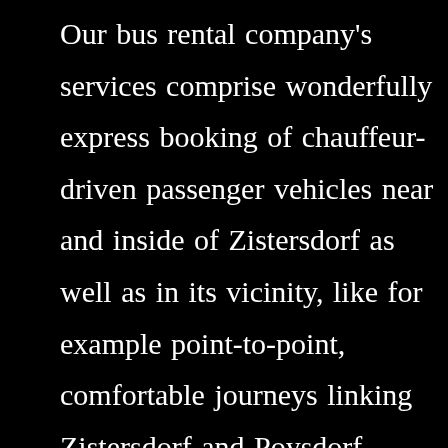Our bus rental company's services comprise wonderfully express booking of chauffeur-driven passenger vehicles near and inside of Zistersdorf as well as in its vicinity, like for example point-to-point, comfortable journeys linking Zistersdorf and Poysdorf.